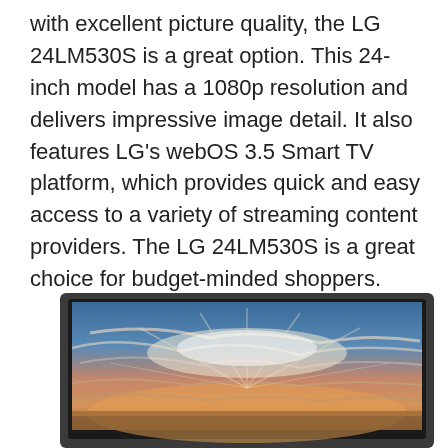with excellent picture quality, the LG 24LM530S is a great option. This 24-inch model has a 1080p resolution and delivers impressive image detail. It also features LG's webOS 3.5 Smart TV platform, which provides quick and easy access to a variety of streaming content providers. The LG 24LM530S is a great choice for budget-minded shoppers.
[Figure (photo): A flat-screen LG 24LM530S television with a dark bezel displaying a sunset sky image with dramatic cloud formations in shades of blue, orange, and gold.]